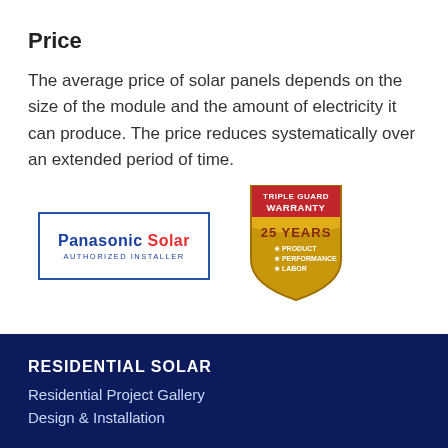Price
The average price of solar panels depends on the size of the module and the amount of electricity it can produce. The price reduces systematically over an extended period of time.
[Figure (logo): Panasonic Solar Authorized Installer badge with blue border]
[Figure (logo): Triple Guard Warranty 25 Years shield badge - Product, Performance, Labor]
RESIDENTIAL SOLAR
Residential Project Gallery
Design & Installation